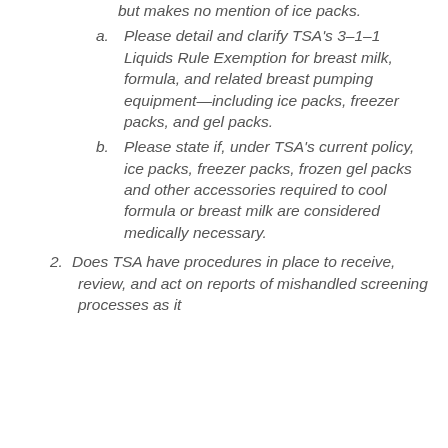but makes no mention of ice packs.
a. Please detail and clarify TSA's 3-1-1 Liquids Rule Exemption for breast milk, formula, and related breast pumping equipment—including ice packs, freezer packs, and gel packs.
b. Please state if, under TSA's current policy, ice packs, freezer packs, frozen gel packs and other accessories required to cool formula or breast milk are considered medically necessary.
2. Does TSA have procedures in place to receive, review, and act on reports of mishandled screening processes as it relates to the Liquids Rule Exemption based